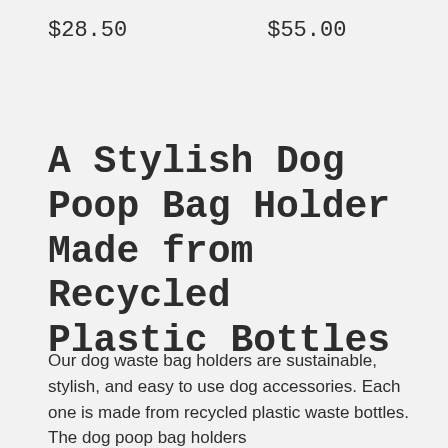$28.50      $55.00
A Stylish Dog Poop Bag Holder Made from Recycled Plastic Bottles
Our dog waste bag holders are sustainable, stylish, and easy to use dog accessories. Each one is made from recycled plastic waste bottles. The dog poop bag holders